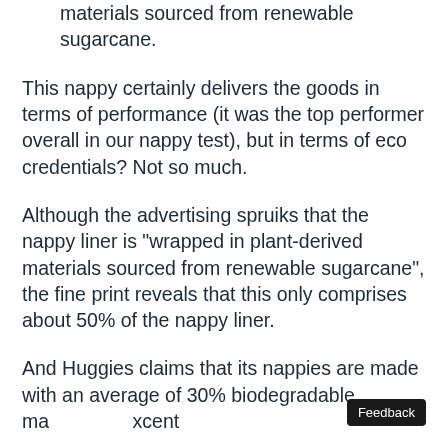Eco claims: Liner is wrapped in plant-derived materials sourced from renewable sugarcane.
This nappy certainly delivers the goods in terms of performance (it was the top performer overall in our nappy test), but in terms of eco credentials? Not so much.
Although the advertising spruiks that the nappy liner is "wrapped in plant-derived materials sourced from renewable sugarcane", the fine print reveals that this only comprises about 50% of the nappy liner.
And Huggies claims that its nappies are made with an average of 30% biodegradable ma...xcent